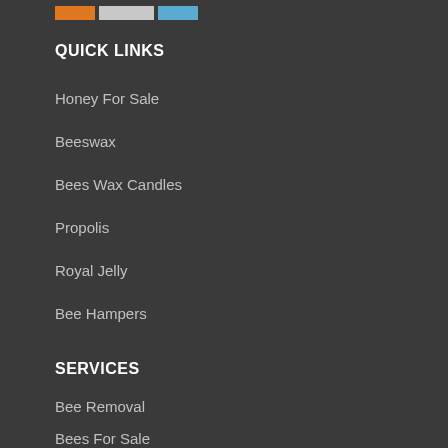[Figure (logo): Logo bar with orange, white/gray, and blue rectangular color blocks]
QUICK LINKS
Honey For Sale
Beeswax
Bees Wax Candles
Propolis
Royal Jelly
Bee Hampers
SERVICES
Bee Removal
Bees For Sale
Wasp Nest Removal
Host A Hive
Beehives For Sale